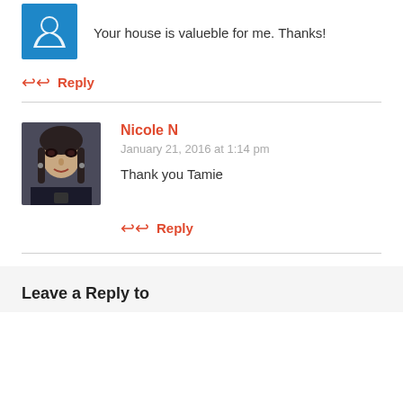[Figure (photo): Blue circular avatar icon (top-left)]
Your house is valueble for me. Thanks!
↩ Reply
[Figure (photo): Profile photo of Nicole N, a woman with dark hair holding a phone]
Nicole N
January 21, 2016 at 1:14 pm
Thank you Tamie
↩ Reply
Leave a Reply to